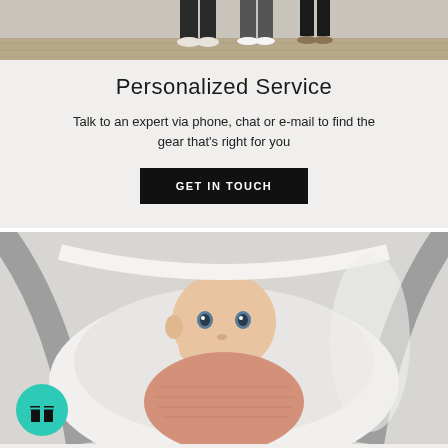[Figure (photo): Cropped photo showing feet/legs of people standing on a wooden floor]
Personalized Service
Talk to an expert via phone, chat or e-mail to find the gear that's right for you
GET IN TOUCH
[Figure (photo): Baby in a white bouncer/bassinet wearing a pink knit outfit, looking at the camera]
[Figure (logo): Teal/green circular gift box icon button]
FAQ